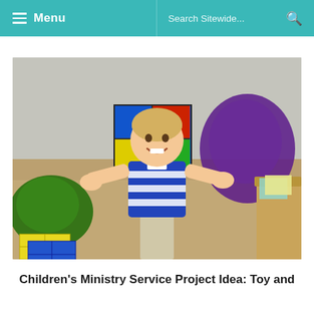Menu  |  Search Sitewide...
[Figure (photo): Young blonde boy in a blue and white striped polo shirt standing in a colorful classroom with arms outstretched and smiling, surrounded by colorful cube shelving, green and purple bean bags, and toy blocks on the floor.]
Children's Ministry Service Project Idea: Toy and